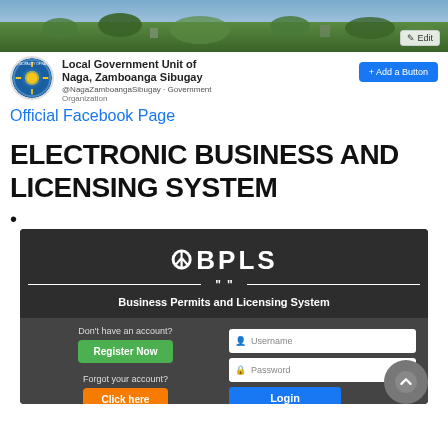[Figure (screenshot): Facebook page banner showing aerial/landscape photo of Naga, Zamboanga Sibugay with an Edit button]
[Figure (screenshot): Facebook profile section showing Local Government Unit of Naga, Zamboanga Sibugay logo, name, @NagaZamboangaSibugay Government Organization tag, and Add a Button button]
Official Facebook Page
ELECTRONIC BUSINESS AND LICENSING SYSTEM
•
[Figure (screenshot): eBPLS (Business Permits and Licensing System) login screen with dark background, logo, Register Now button, Click here button, Username field, Password field, and Login button]